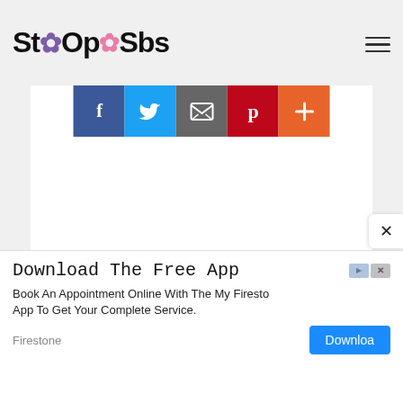StOpSbs
[Figure (screenshot): Social share buttons: Facebook (blue), Twitter (light blue), Email (gray), Pinterest (red), More/Plus (orange)]
[Figure (screenshot): Advertisement banner: Download The Free App - Book An Appointment Online With The My Firesto App To Get Your Complete Service. Firestone brand with Download button.]